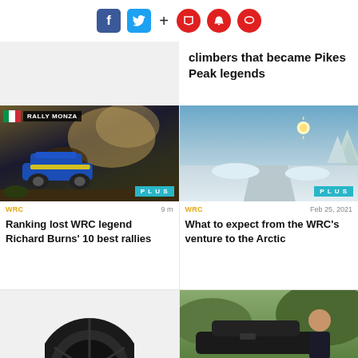[Figure (infographic): Social media share icons: Facebook (blue), Twitter (cyan), plus sign, then three red circular icons (bookmark, bell, comment)]
climbers that became Pikes Peak legends
[Figure (photo): Rally car (blue Subaru) kicking up dust on a dirt track at night with RALLY MONZA badge and Italian flag, PLUS badge]
[Figure (photo): Snowy Arctic road through winter forest at golden hour with sun, PLUS badge]
WRC   9 m
WRC   Feb 25, 2021
Ranking lost WRC legend Richard Burns' 10 best rallies
What to expect from the WRC's venture to the Arctic
[Figure (photo): Partial view of a vinyl disc or wheel at bottom left]
[Figure (photo): Person standing next to a dark Hyundai car on grass at bottom right]